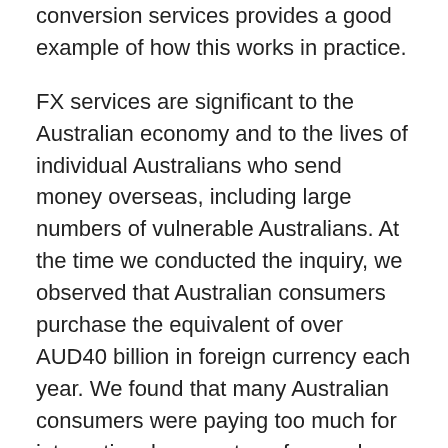conversion services provides a good example of how this works in practice.
FX services are significant to the Australian economy and to the lives of individual Australians who send money overseas, including large numbers of vulnerable Australians. At the time we conducted the inquiry, we observed that Australian consumers purchase the equivalent of over AUD40 billion in foreign currency each year. We found that many Australian consumers were paying too much for international money transfers and could save hundreds of millions of dollars per year if they had more transparent pricing information to help them compare the options.
To address this issue, the report included best practice guidance for suppliers, which was directed at improving price transparency to make it easier for